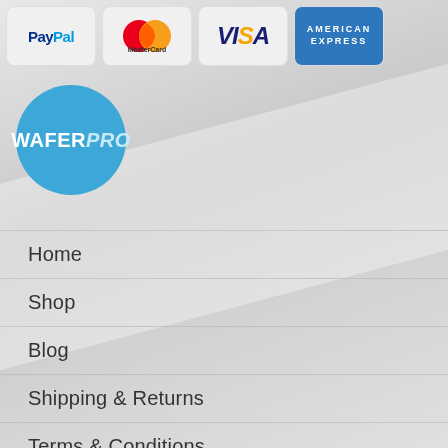[Figure (logo): Payment icons: PayPal, MasterCard, Visa, American Express]
[Figure (logo): WaferPro logo — blue circle with WAFERPRO text in white]
Home
Shop
Blog
Shipping & Returns
Terms & Conditions
Privacy Statement
Contact Us